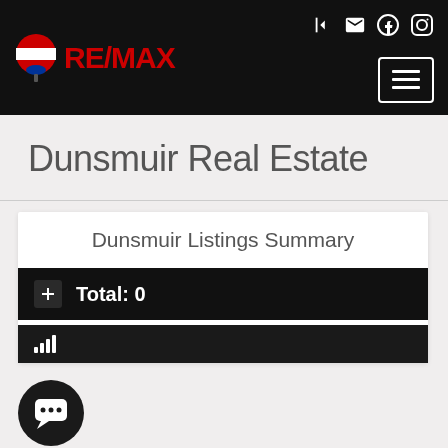RE/MAX
Dunsmuir Real Estate
Dunsmuir Listings Summary
Total: 0